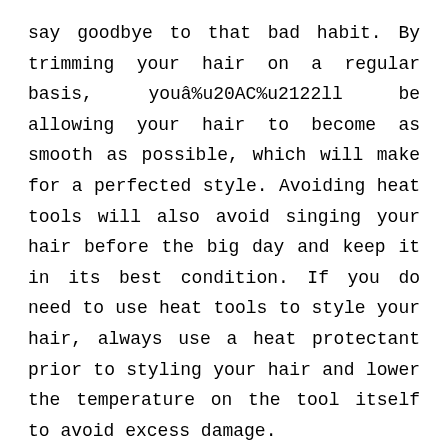say goodbye to that bad habit. By trimming your hair on a regular basis, youâ%u20AC%u2122ll be allowing your hair to become as smooth as possible, which will make for a perfected style. Avoiding heat tools will also avoid singing your hair before the big day and keep it in its best condition. If you do need to use heat tools to style your hair, always use a heat protectant prior to styling your hair and lower the temperature on the tool itself to avoid excess damage.
Do a Trial Run
Before committing to a hairstyle for your big day, always do a trial run with your hair stylist. This will help avoid any mishaps and â%u20AC%u0153oh noâ%u20AC%u2122sâ%u20ACŒ on your big day. When